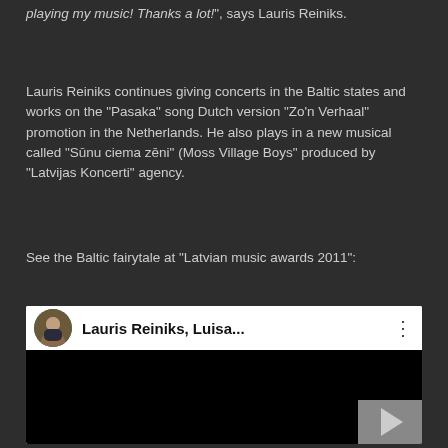playing my music! Thanks a lot!", says Lauris Reiniks.
Lauris Reiniks continues giving concerts in the Baltic states and works on the “Pasaka” song Dutch version “Zo’n Verhaal” promotion in the Netherlands. He also plays in a new musical called “Sūnu ciema zēni” (Moss Village Boys” produced by “Latvijas Koncerti” agency.
See the Baltic fairytale at “Latvian music awards 2011”:
[Figure (screenshot): YouTube video embed showing Lauris Reiniks, Luisa... with avatar thumbnail, title, more options button, and play button in bottom right corner of black video area]